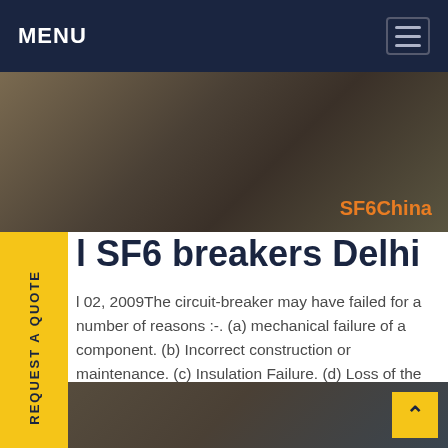MENU
[Figure (photo): Workshop or industrial site with equipment and cables on the floor, with SF6China watermark in orange]
I SF6 breakers Delhi
02, 2009The circuit-breaker may have failed for a number of reasons :-. (a) mechanical failure of a component. (b) Incorrect construction or maintenance. (c) Insulation Failure. (d) Loss of the interrupting medium (SF6 gas in this case) (e) The breaker was not suitable for the application. The last case is probably the most unlikely.Get price
[Figure (photo): Bottom photo showing industrial equipment or workers, with back-to-top button]